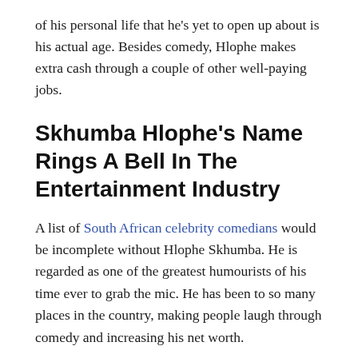of his personal life that he's yet to open up about is his actual age. Besides comedy, Hlophe makes extra cash through a couple of other well-paying jobs.
Skhumba Hlophe's Name Rings A Bell In The Entertainment Industry
A list of South African celebrity comedians would be incomplete without Hlophe Skhumba. He is regarded as one of the greatest humourists of his time ever to grab the mic. He has been to so many places in the country, making people laugh through comedy and increasing his net worth.